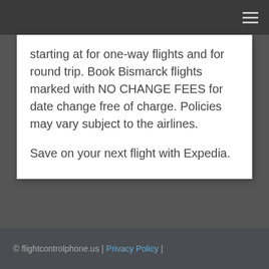starting at for one-way flights and for round trip. Book Bismarck flights marked with NO CHANGE FEES for date change free of charge. Policies may vary subject to the airlines.

Save on your next flight with Expedia.
© flightcontrolphone.us | Privacy Policy |